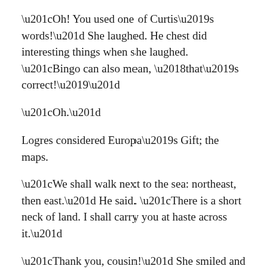“Oh! You used one of Curtis’s words!” She laughed. He chest did interesting things when she laughed. “Bingo can also mean, ‘that’s correct!’”
“Oh.”
Logres considered Europa’s Gift; the maps.
“We shall walk next to the sea: northeast, then east.” He said. “There is a short neck of land. I shall carry you at haste across it.”
“Thank you, cousin!” She smiled and held out her right hand. He walked back down the rocky beach and took it with his left. They turned and began walking. Her feet a little bit wet, his mostly dry.
There were rivers – of course there were, he thought morosely – and inlets to get through and